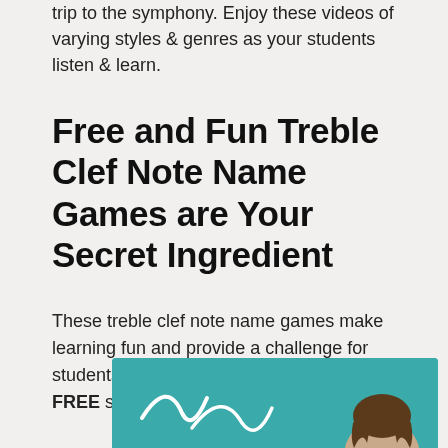trip to the symphony. Enjoy these videos of varying styles & genres as your students listen & learn.
Free and Fun Treble Clef Note Name Games are Your Secret Ingredient
These treble clef note name games make learning fun and provide a challenge for students to improve their skills. Give these FREE sequential sets a try.
[Figure (photo): Partial photo showing a teal/turquoise background with white handwritten-style curved marks and the top of a person's head at the bottom right corner.]